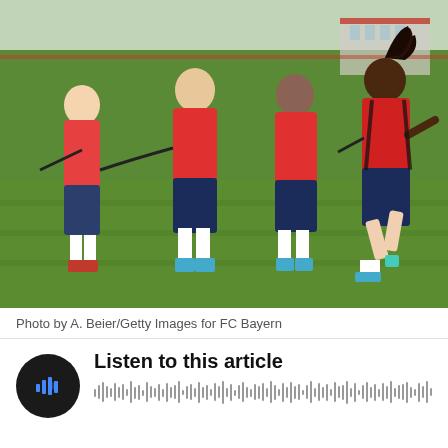[Figure (photo): FC Bayern Munich players in red training kits doing sprint resistance training on a green pitch, connected by resistance bands. One player at right runs forward while others resist. Green grass field with building in background.]
Photo by A. Beier/Getty Images for FC Bayern
[Figure (other): Audio player widget with dark circular play button on left showing audio waveform icon, bold text 'Listen to this article' on right, and animated waveform bars below spanning the full width.]